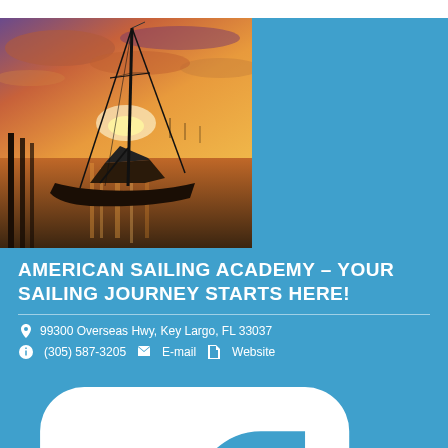[Figure (photo): Sailboat silhouetted at sunset/sunrise docked at a marina with warm orange and pink sky reflecting on the water]
AMERICAN SAILING ACADEMY – YOUR SAILING JOURNEY STARTS HERE!
99300 Overseas Hwy, Key Largo, FL 33037
(305) 587-3205   E-mail   Website
Facebook
We will teach you to sail safely and with confidence! When you attend 2/3-day classes at our facility, you will not only learn the art and science of sailing, but